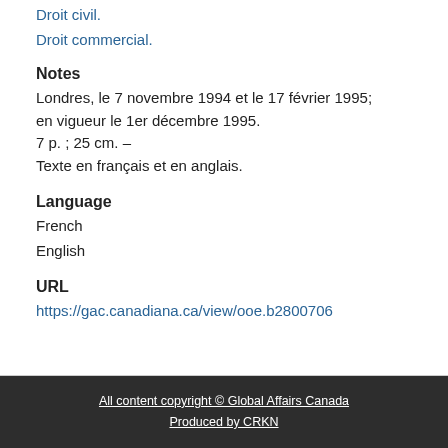Droit civil.
Droit commercial.
Notes
Londres, le 7 novembre 1994 et le 17 février 1995; en vigueur le 1er décembre 1995.
7 p. ; 25 cm. –
Texte en français et en anglais.
Language
French
English
URL
https://gac.canadiana.ca/view/ooe.b2800706
All content copyright © Global Affairs Canada
Produced by CRKN